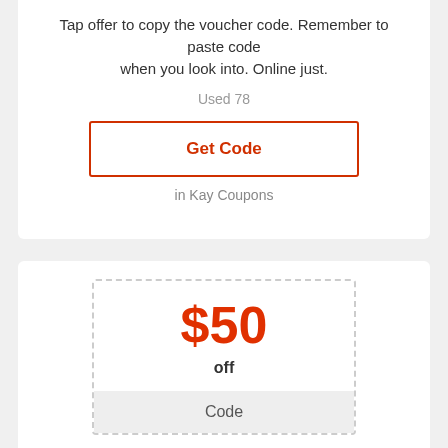Tap offer to copy the voucher code. Remember to paste code when you look into. Online just.
Used 78
Get Code
in Kay Coupons
$50
off
Code
Special Offer! $50 Off $300+ Select Orders
Tap offer to copy the voucher code. Remember to paste code